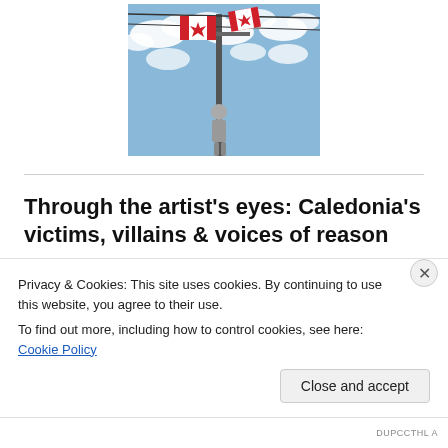[Figure (photo): Photograph of Canadian flags hanging from a utility pole against a partly cloudy blue sky, with a person visible near the pole.]
Through the artist's eyes: Caledonia's victims, villains & voices of reason
[Figure (photo): Book or artwork cover titled 'Caught in the Middle' showing three images of people and Canadian flags in red tones.]
Privacy & Cookies: This site uses cookies. By continuing to use this website, you agree to their use.
To find out more, including how to control cookies, see here: Cookie Policy